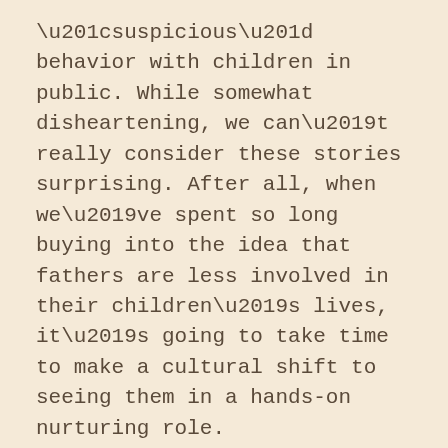“suspicious” behavior with children in public. While somewhat disheartening, we can’t really consider these stories surprising. After all, when we’ve spent so long buying into the idea that fathers are less involved in their children’s lives, it’s going to take time to make a cultural shift to seeing them in a hands-on nurturing role.
In the end, what all these reports show is that, just like mothers, fathers often struggle to balance work and home in the way that will best support their children emotionally as well as financially.
To all the dads out there still figuring it out, as well as those who have found the answer that works for them and their families, we at For